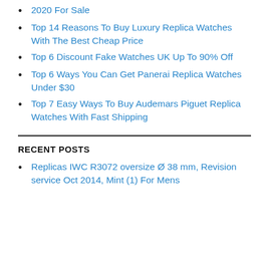2020 For Sale
Top 14 Reasons To Buy Luxury Replica Watches With The Best Cheap Price
Top 6 Discount Fake Watches UK Up To 90% Off
Top 6 Ways You Can Get Panerai Replica Watches Under $30
Top 7 Easy Ways To Buy Audemars Piguet Replica Watches With Fast Shipping
RECENT POSTS
Replicas IWC R3072 oversize Ø 38 mm, Revision service Oct 2014, Mint (1) For Mens